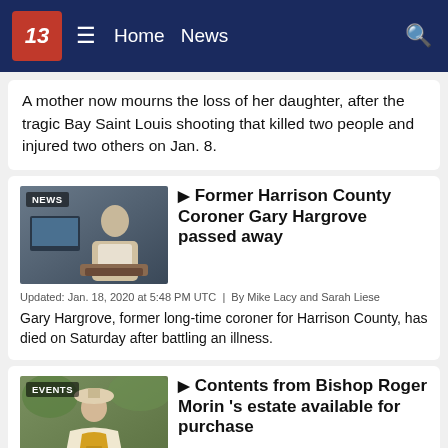13 | Home News
A mother now mourns the loss of her daughter, after the tragic Bay Saint Louis shooting that killed two people and injured two others on Jan. 8.
[Figure (photo): Thumbnail labeled NEWS showing a man seated at a desk]
Former Harrison County Coroner Gary Hargrove passed away
Updated: Jan. 18, 2020 at 5:48 PM UTC  |  By Mike Lacy and Sarah Liese
Gary Hargrove, former long-time coroner for Harrison County, has died on Saturday after battling an illness.
[Figure (photo): Thumbnail labeled EVENTS showing a bishop in ceremonial robes]
Contents from Bishop Roger Morin 's estate available for purchase
Updated: Jan. 18, 2020 at 3:31 PM UTC  |  By Sarah Liese